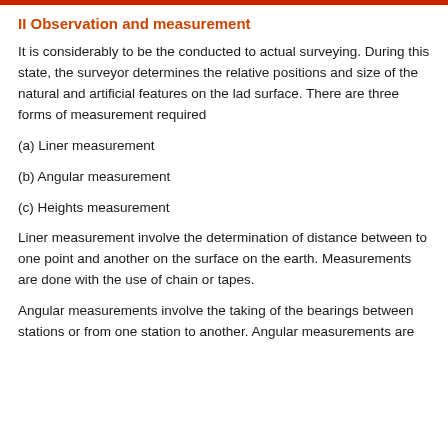II Observation and measurement
It is considerably to be the conducted to actual surveying. During this state, the surveyor determines the relative positions and size of the natural and artificial features on the lad surface. There are three forms of measurement required
(a) Liner measurement
(b) Angular measurement
(c) Heights measurement
Liner measurement involve the determination of distance between to one point and another on the surface on the earth. Measurements are done with the use of chain or tapes.
Angular measurements involve the taking of the bearings between stations or from one station to another. Angular measurements are